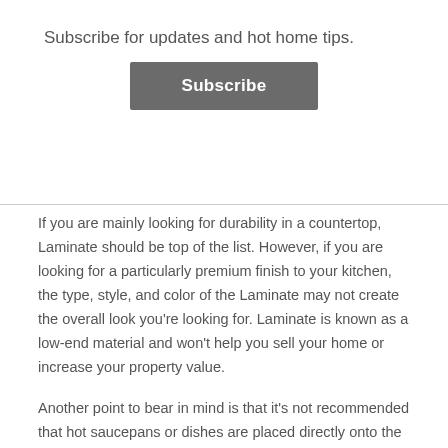Subscribe for updates and hot home tips.
Subscribe
If you are mainly looking for durability in a countertop, Laminate should be top of the list. However, if you are looking for a particularly premium finish to your kitchen, the type, style, and color of the Laminate may not create the overall look you’re looking for. Laminate is known as a low-end material and won’t help you sell your home or increase your property value.
Another point to bear in mind is that it’s not recommended that hot saucepans or dishes are placed directly onto the work surface. Always use a protective mat or pot stand to protect the countertop.
$ Laminate is easy to install and has a low first-time